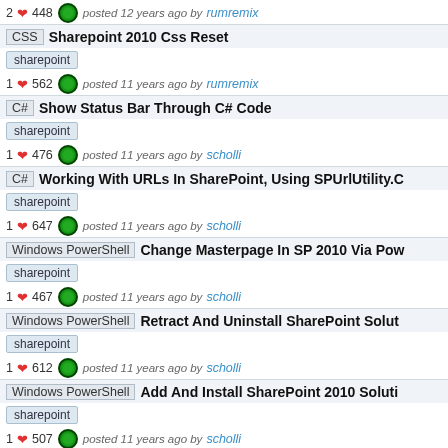2 ❤ 448 👁 posted 12 years ago by rumremix
CSS Sharepoint 2010 Css Reset | sharepoint
1 ❤ 562 👁 posted 11 years ago by rumremix
C# Show Status Bar Through C# Code | sharepoint
1 ❤ 476 👁 posted 11 years ago by scholli
C# Working With URLs In SharePoint, Using SPUrlUtility.C... | sharepoint
1 ❤ 647 👁 posted 11 years ago by scholli
Windows PowerShell Change Masterpage In SP 2010 Via Pow... | sharepoint
1 ❤ 467 👁 posted 11 years ago by scholli
Windows PowerShell Retract And Uninstall SharePoint Solut... | sharepoint
1 ❤ 612 👁 posted 11 years ago by scholli
Windows PowerShell Add And Install SharePoint 2010 Soluti... | sharepoint
1 ❤ 507 👁 posted 11 years ago by scholli
C# Check If User Has Been Assigned A Specific Role Defi...